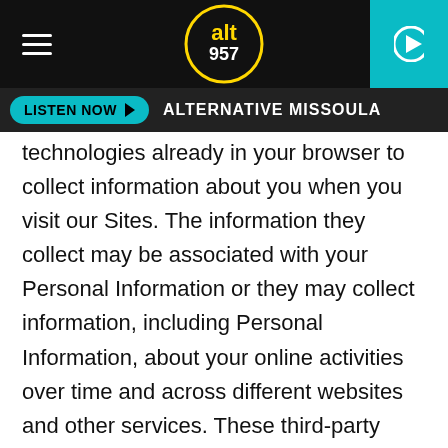ALT 957 — ALTERNATIVE MISSOULA
technologies already in your browser to collect information about you when you visit our Sites. The information they collect may be associated with your Personal Information or they may collect information, including Personal Information, about your online activities over time and across different websites and other services. These third-party web technologies may also allow us to share our content with you when you visit the websites of our third-party partners, such as Facebook.
Among the third party cookies used for purposes of optimizing the Services is Google Analytics, a web analytics service provided by Google, Inc. Google Analytics uses cookies or other tracking technologies to help us analyze